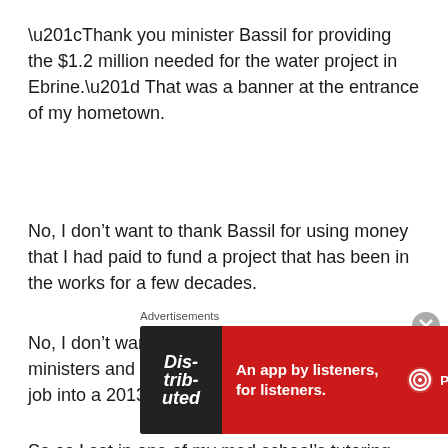“Thank you minister Bassil for providing the $1.2 million needed for the water project in Ebrine.” That was a banner at the entrance of my hometown.
No, I don’t want to thank Bassil for using money that I had paid to fund a project that has been in the works for a few decades.
No, I don’t want to be eternally grateful to ministers and MPs who are spinning doing their job into a 2013 elections campaign.
So as I sat in one of my med school’s tutoring classes, as a practicing physician told me how I’d be lucky to get paid
Advertisements
[Figure (other): Advertisement banner for Pocket Casts app: red background with text 'An app by listeners, for listeners.' and Pocket Casts logo with phone image showing 'Distributed' text]